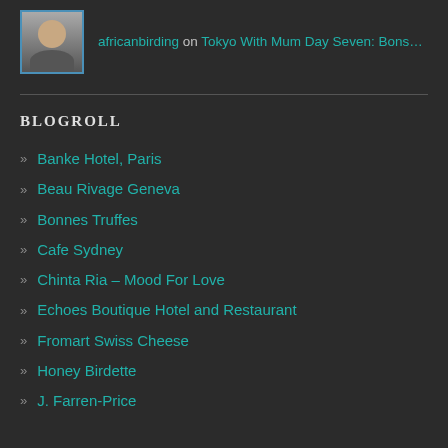africanbirding on Tokyo With Mum Day Seven: Bons…
BLOGROLL
Banke Hotel, Paris
Beau Rivage Geneva
Bonnes Truffes
Cafe Sydney
Chinta Ria – Mood For Love
Echoes Boutique Hotel and Restaurant
Fromart Swiss Cheese
Honey Birdette
J. Farren-Price